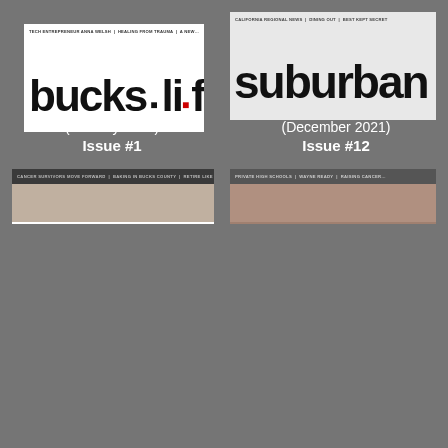[Figure (photo): Top-left magazine cover thumbnail showing January 2022 Issue #1 of a life magazine, with header text: TECH ENTREPRENEUR ANNA WELSH | HEALING FROM TRAUMA | A NEW YOU FOR A NEW YEAR]
(January 2022)
Issue #1
[Figure (photo): Top-right magazine cover thumbnail showing December 2021 Issue #12 of suburban life magazine]
(December 2021)
Issue #12
[Figure (photo): Bottom-left magazine cover thumbnail with dark header bar: CANCER SURVIVORS MOVE FORWARD | BAKING IN BUCKS COUNTY | RETIRE LIKE A BOSS]
[Figure (photo): Bottom-right magazine cover thumbnail with dark header bar: PRIVATE HIGH SCHOOLS | WAYNE READY | RAISING CANCER...]